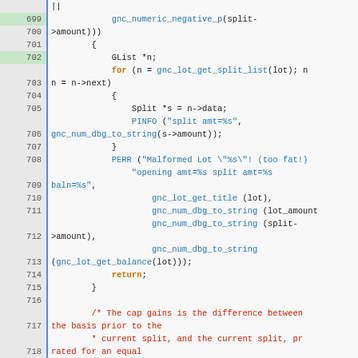[Figure (screenshot): Source code viewer showing C code lines 699-721, with line numbers in gutter, syntax highlighting in orange (keywords), blue (function calls/strings), red (comments), and black (normal code).]